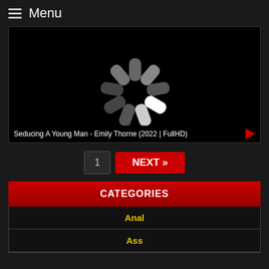Menu
[Figure (screenshot): Video player showing a loading spinner (buffering indicator) on a black background]
Seducing A Young Man - Emily Thorne (2022 | FullHD)
1
NEXT »
CATEGORIES
Anal
Ass